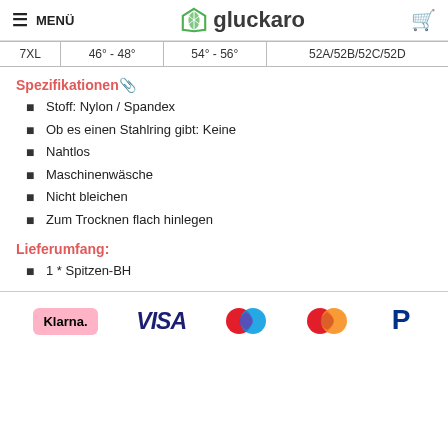MENÜ | gluckaro
| 7XL | 46° - 48° | 54° - 56° | 52A/52B/52C/52D |
Spezifikationen🔖
Stoff: Nylon / Spandex
Ob es einen Stahlring gibt: Keine
Nahtlos
Maschinenwäsche
Nicht bleichen
Zum Trocknen flach hinlegen
Lieferumfang:
1 * Spitzen-BH
[Figure (logo): Payment method logos: Klarna, VISA, Mastercard (two overlapping circles in red and blue), Mastercard (red and orange), PayPal]